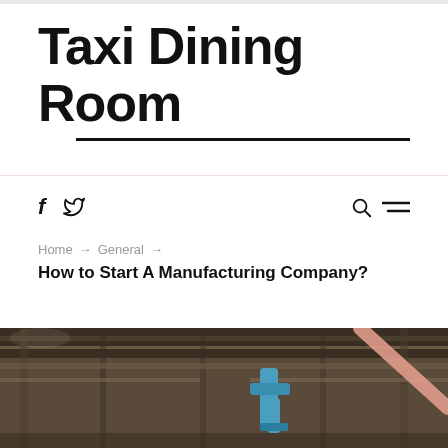Taxi Dining Room
f  [twitter icon]  [search icon]  [menu icon]
Home → General → How to Start A Manufacturing Company?
How to Start A Manufacturing Company?
[Figure (photo): Industrial manufacturing facility interior showing overhead pipes, machinery and equipment, with a blue robotic arm or machine component visible]